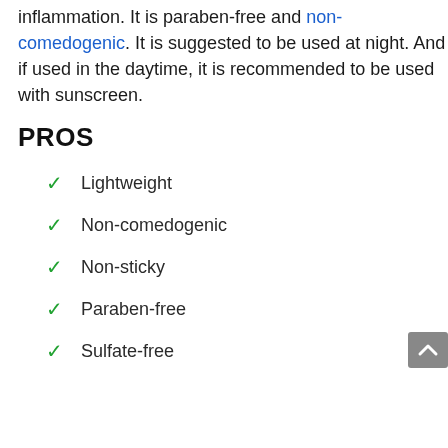inflammation. It is paraben-free and non-comedogenic. It is suggested to be used at night. And if used in the daytime, it is recommended to be used with sunscreen.
PROS
Lightweight
Non-comedogenic
Non-sticky
Paraben-free
Sulfate-free